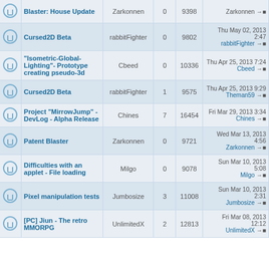|  | Topic | Author | Replies | Views | Last Post |
| --- | --- | --- | --- | --- | --- |
|  | Blaster: House Update | Zarkonnen | 0 | 9398 | Zarkonnen → |
|  | Cursed2D Beta | rabbitFighter | 0 | 9802 | Thu May 02, 2013 2:47 rabbitFighter → |
|  | "Isometric-Global-Lighting"- Prototype creating pseudo-3d | Cbeed | 0 | 10336 | Thu Apr 25, 2013 7:24 Cbeed → |
|  | Cursed2D Beta | rabbitFighter | 1 | 9575 | Thu Apr 25, 2013 9:29 Theman59 → |
|  | Project "MirrowJump" - DevLog - Alpha Release | Chines | 7 | 16454 | Fri Mar 29, 2013 3:34 Chines → |
|  | Patent Blaster | Zarkonnen | 0 | 9721 | Wed Mar 13, 2013 4:56 Zarkonnen → |
|  | Difficulties with an applet - File loading | Milgo | 0 | 9078 | Sun Mar 10, 2013 5:08 Milgo → |
|  | Pixel manipulation tests | Jumbosize | 3 | 11008 | Sun Mar 10, 2013 2:31 Jumbosize → |
|  | [PC] Jiun - The retro MMORPG | UnlimitedX | 2 | 12813 | Fri Mar 08, 2013 12:12 UnlimitedX → |